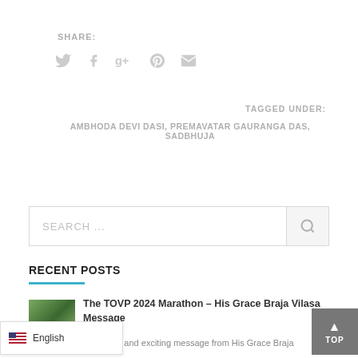SHARE:
[Figure (infographic): Social sharing icons: Twitter bird, Facebook f, Google g+, Pinterest P, Email envelope — all in light gray]
TAGGED UNDER:
AMBHODA DEVI DASI, PREMAVATAR GAURANGA DAS, SADBHUJA
[Figure (screenshot): Search box with placeholder text 'SEARCH ...' and a search icon button on the right]
RECENT POSTS
[Figure (photo): Thumbnail photo showing green foliage/nature scene]
The TOVP 2024 Marathon – His Grace Braja Vilasa Message
his urgent and exciting message from His Grace Braja